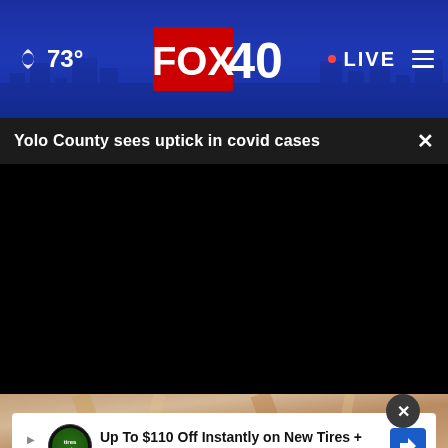73° FOX 40 LIVE
Yolo County sees uptick in covid cases
[Figure (screenshot): Black video player area]
[Figure (photo): Bottom partial image showing warm-toned abstract background]
Up To $110 Off Instantly on New Tires + $40 Off Alignments